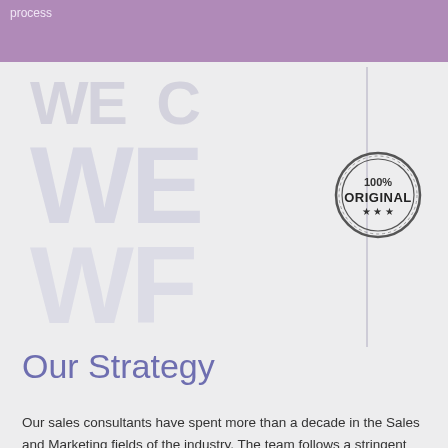process
[Figure (illustration): Watermark background with large faded text 'WE WE WE WF' and a vertical line, with a '100% ORIGINAL' rubber stamp badge on the right side]
Our Strategy
Our sales consultants have spent more than a decade in the Sales and Marketing fields of the industry. The team follows a stringent process to shortlist companies who can develop your requirements. We evaluate our solution providers in every 6 months to ensure that they are updating